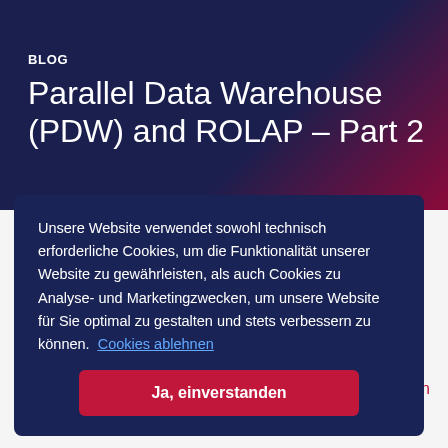BLOG
Parallel Data Warehouse (PDW) and ROLAP – Part 2
Unsere Website verwendet sowohl technisch erforderliche Cookies, um die Funktionalität unserer Website zu gewährleisten, als auch Cookies zu Analyse- und Marketingzwecken, um unsere Website für Sie optimal zu gestalten und stets verbessern zu können.  Cookies ablehnen
Ja, einverstanden
on
e on a PDW source. Please read part 1 first as most of the